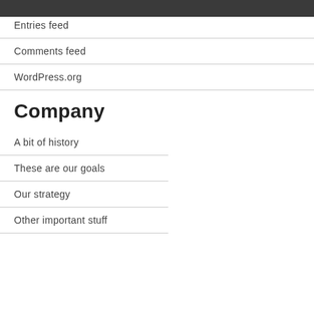Entries feed
Comments feed
WordPress.org
Company
A bit of history
These are our goals
Our strategy
Other important stuff